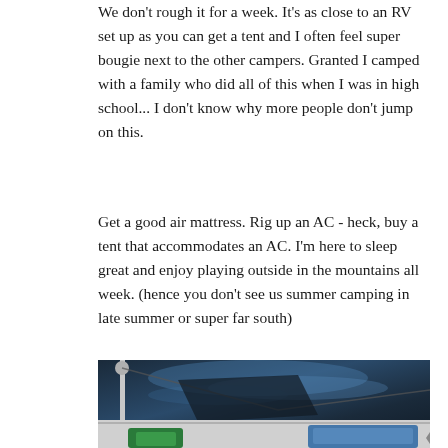We don't rough it for a week. It's as close to an RV set up as you can get a tent and I often feel super bougie next to the other campers. Granted I camped with a family who did all of this when I was in high school... I don't know why more people don't jump on this.
Get a good air mattress. Rig up an AC - heck, buy a tent that accommodates an AC. I'm here to sleep great and enjoy playing outside in the mountains all week. (hence you don't see us summer camping in late summer or super far south)
[Figure (photo): Interior view of a large camping tent showing the dark blue tent ceiling with mesh panels, tent poles, and two camp chairs visible at the bottom — one green and one with blue bedding.]